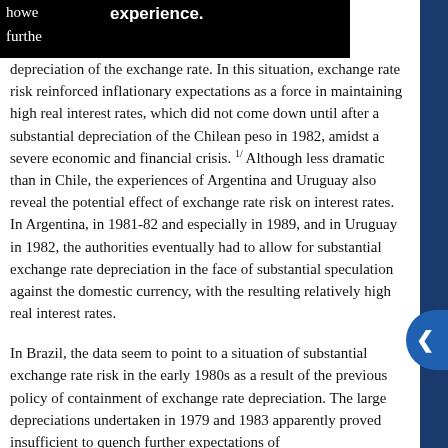howe experience. furthe depreciation of the exchange rate. In this situation, exchange rate risk reinforced inflationary expectations as a force in maintaining high real interest rates, which did not come down until after a substantial depreciation of the Chilean peso in 1982, amidst a severe economic and financial crisis. 1/ Although less dramatic than in Chile, the experiences of Argentina and Uruguay also reveal the potential effect of exchange rate risk on interest rates. In Argentina, in 1981-82 and especially in 1989, and in Uruguay in 1982, the authorities eventually had to allow for substantial exchange rate depreciation in the face of substantial speculation against the domestic currency, with the resulting relatively high real interest rates.
In Brazil, the data seem to point to a situation of substantial exchange rate risk in the early 1980s as a result of the previous policy of containment of exchange rate depreciation. The large depreciations undertaken in 1979 and 1983 apparently proved insufficient to quench further expectations of